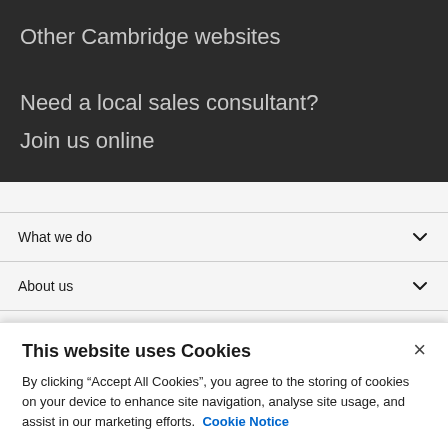Other Cambridge websites
Need a local sales consultant?
Join us online
What we do
About us
Location: ZAF
This website uses Cookies
By clicking “Accept All Cookies”, you agree to the storing of cookies on your device to enhance site navigation, analyse site usage, and assist in our marketing efforts.  Cookie Notice